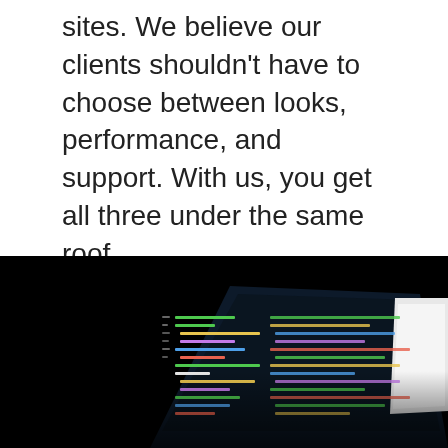sites. We believe our clients shouldn't have to choose between looks, performance, and support. With us, you get all three under the same roof.
START YOUR PROJECT
OUR DESIGNS
[Figure (photo): Dark background photo showing a laptop/monitor screen displaying code editor with colorful syntax highlighting, viewed at an angle]